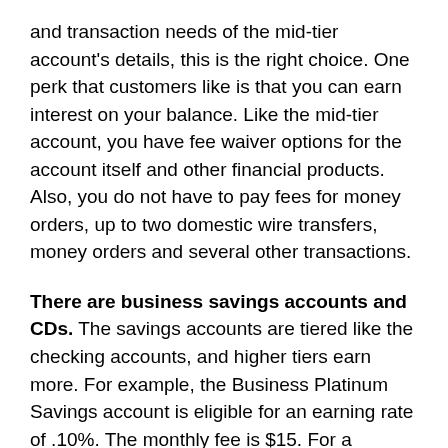and transaction needs of the mid-tier account's details, this is the right choice. One perk that customers like is that you can earn interest on your balance. Like the mid-tier account, you have fee waiver options for the account itself and other financial products. Also, you do not have to pay fees for money orders, up to two domestic wire transfers, money orders and several other transactions.
There are business savings accounts and CDs. The savings accounts are tiered like the checking accounts, and higher tiers earn more. For example, the Business Platinum Savings account is eligible for an earning rate of .10%. The monthly fee is $15. For a monthly fee of $6, there is also the Business Market Rate Savings account, which is better for new and smaller businesses. While the CDs offer competitive rates and flexible term choices, you must deposit at least $2,500 to open an account. Overall, the business savings